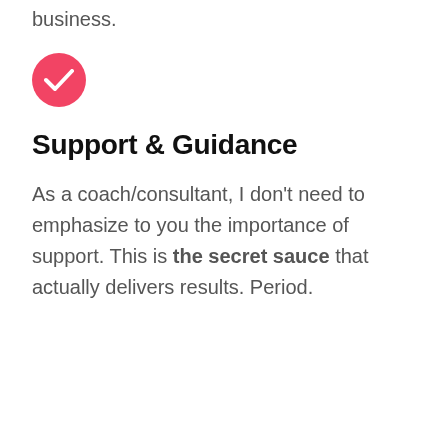business.
[Figure (illustration): Pink/red circle with white checkmark icon]
Support & Guidance
As a coach/consultant, I don't need to emphasize to you the importance of support. This is the secret sauce that actually delivers results. Period.